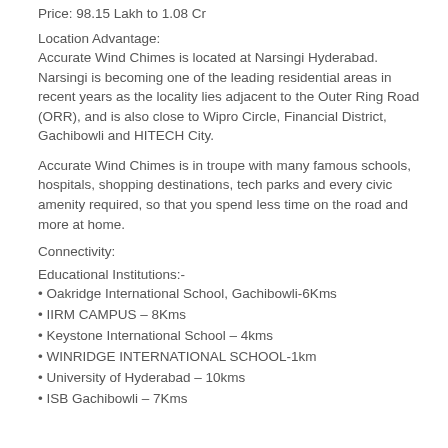Price: 98.15 Lakh to 1.08 Cr
Location Advantage:
Accurate Wind Chimes is located at Narsingi Hyderabad. Narsingi is becoming one of the leading residential areas in recent years as the locality lies adjacent to the Outer Ring Road (ORR), and is also close to Wipro Circle, Financial District, Gachibowli and HITECH City.
Accurate Wind Chimes is in troupe with many famous schools, hospitals, shopping destinations, tech parks and every civic amenity required, so that you spend less time on the road and more at home.
Connectivity:
Educational Institutions:-
• Oakridge International School, Gachibowli-6Kms
• IIRM CAMPUS – 8Kms
• Keystone International School – 4kms
• WINRIDGE INTERNATIONAL SCHOOL-1km
• University of Hyderabad – 10kms
• ISB Gachibowli – 7Kms